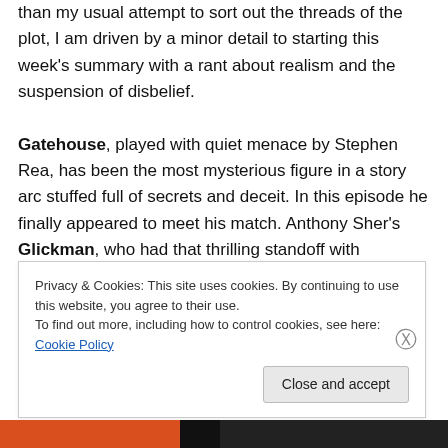than my usual attempt to sort out the threads of the plot, I am driven by a minor detail to starting this week's summary with a rant about realism and the suspension of disbelief.

Gatehouse, played with quiet menace by Stephen Rea, has been the most mysterious figure in a story arc stuffed full of secrets and deceit. In this episode he finally appeared to meet his match. Anthony Sher's Glickman, who had that thrilling standoff with Gatehouse last week, uses Chiwetel Ejiofor's confused Detective Jonah Gabriel, the one with the bullet in his brain, to get the
Privacy & Cookies: This site uses cookies. By continuing to use this website, you agree to their use.
To find out more, including how to control cookies, see here: Cookie Policy